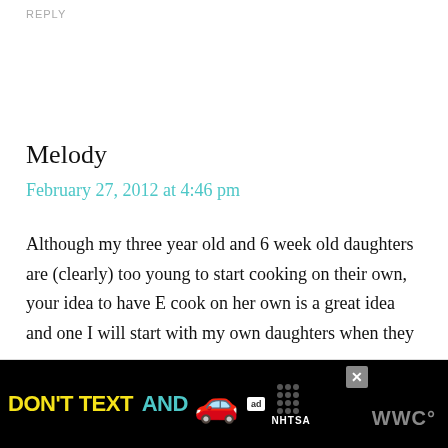REPLY
Melody
February 27, 2012 at 4:46 pm
Although my three year old and 6 week old daughters are (clearly) too young to start cooking on their own, your idea to have E cook on her own is a great idea and one I will start with my own daughters when they a...
[Figure (screenshot): Advertisement banner: DON'T TEXT AND [car emoji] with ad badge and NHTSA logo]